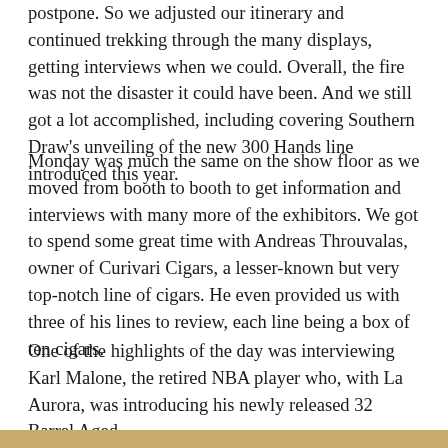postpone. So we adjusted our itinerary and continued trekking through the many displays, getting interviews when we could. Overall, the fire was not the disaster it could have been. And we still got a lot accomplished, including covering Southern Draw's unveiling of the new 300 Hands line introduced this year.
Monday was much the same on the show floor as we moved from booth to booth to get information and interviews with many more of the exhibitors. We got to spend some great time with Andreas Throuvalas, owner of Curivari Cigars, a lesser-known but very top-notch line of cigars. He even provided us with three of his lines to review, each line being a box of ten cigars.
One of the highlights of the day was interviewing Karl Malone, the retired NBA player who, with La Aurora, was introducing his newly released 32 Barrel Aged.